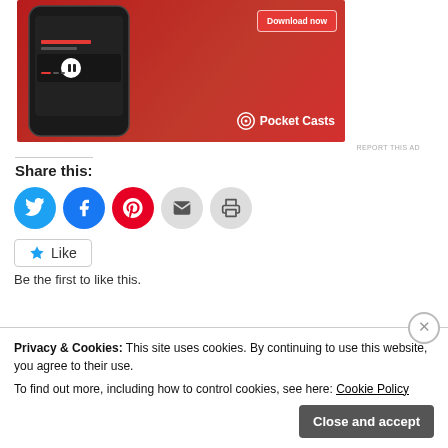[Figure (screenshot): Pocket Casts app advertisement showing a smartphone on a red background with 'Download now' button and Pocket Casts logo]
REPORT THIS AD
Share this:
[Figure (screenshot): Share buttons: Twitter (blue circle), Facebook (blue circle), Pinterest (red circle), Email (grey circle), Print (grey circle)]
Like
Be the first to like this.
Privacy & Cookies: This site uses cookies. By continuing to use this website, you agree to their use.
To find out more, including how to control cookies, see here: Cookie Policy
Close and accept